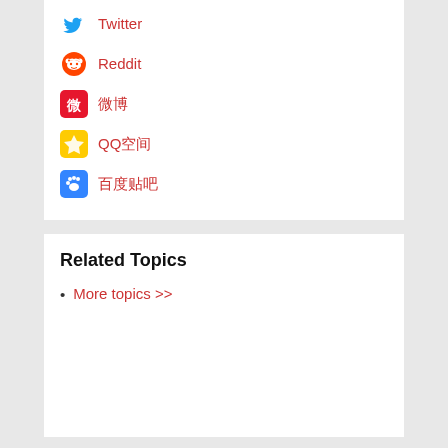Twitter
Reddit
微博
QQ空间
百度贴吧
Related Topics
More topics >>
Defenders
All defenders >>